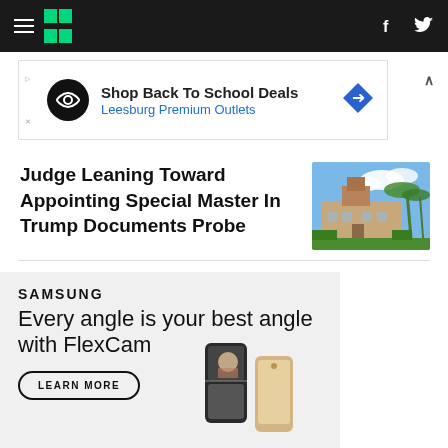HuffPost navigation bar with hamburger menu, logo, Facebook and Twitter icons
[Figure (screenshot): Advertisement banner: Shop Back To School Deals - Leesburg Premium Outlets]
Judge Leaning Toward Appointing Special Master In Trump Documents Probe
[Figure (photo): Exterior photo of Mar-a-Lago estate with palm trees and blue sky]
[Figure (screenshot): Samsung advertisement: SAMSUNG - Every angle is your best angle with FlexCam - LEARN MORE button - phones shown at bottom]